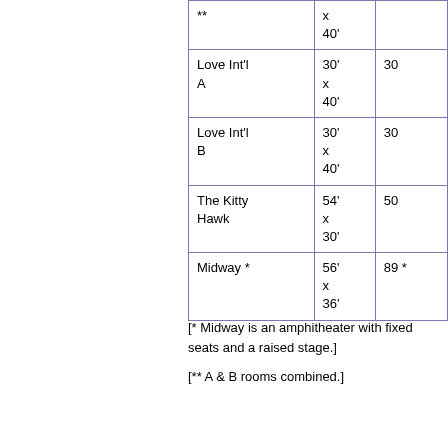| ** | x
40' |  |
| Love Int'l A | 30'
x
40' | 30 |
| Love Int'l B | 30'
x
40' | 30 |
| The Kitty Hawk | 54'
x
30' | 50 |
| Midway * | 56'
x
36' | 89 * |
[* Midway is an amphitheater with fixed seats and a raised stage.]
[** A & B rooms combined.]